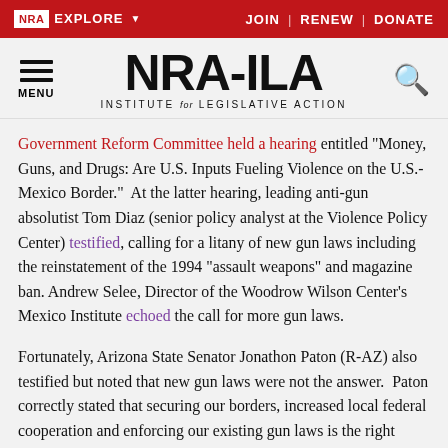NRA EXPLORE  JOIN | RENEW | DONATE
[Figure (logo): NRA-ILA logo with hamburger menu and search icon. Text: NRA-ILA INSTITUTE for LEGISLATIVE ACTION]
Government Reform Committee held a hearing entitled "Money, Guns, and Drugs: Are U.S. Inputs Fueling Violence on the U.S.-Mexico Border."  At the latter hearing, leading anti-gun absolutist Tom Diaz (senior policy analyst at the Violence Policy Center) testified, calling for a litany of new gun laws including the reinstatement of the 1994 "assault weapons" and magazine ban.  Andrew Selee, Director of the Woodrow Wilson Center's Mexico Institute echoed the call for more gun laws.
Fortunately, Arizona State Senator Jonathon Paton (R-AZ) also testified but noted that new gun laws were not the answer.  Paton correctly stated that securing our borders, increased local federal cooperation and enforcing our existing gun laws is the right approach.  NRA-ILA Executive Director Chris W. Cox also